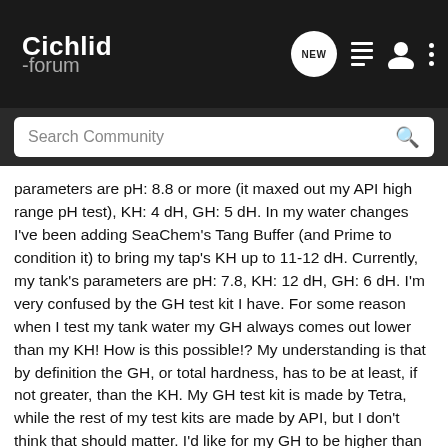Cichlid-forum
Search Community
parameters are pH: 8.8 or more (it maxed out my API high range pH test), KH: 4 dH, GH: 5 dH. In my water changes I've been adding SeaChem's Tang Buffer (and Prime to condition it) to bring my tap's KH up to 11-12 dH. Currently, my tank's parameters are pH: 7.8, KH: 12 dH, GH: 6 dH. I'm very confused by the GH test kit I have. For some reason when I test my tank water my GH always comes out lower than my KH! How is this possible!? My understanding is that by definition the GH, or total hardness, has to be at least, if not greater, than the KH. My GH test kit is made by Tetra, while the rest of my test kits are made by API, but I don't think that should matter. I'd like for my GH to be higher than is indicated by my test kit, which I assume will happen slowly because of all the limestone and aragonite substrate in the tank. If anyone can explain this KH/GH discrepancy I would greatly appreciate it. Also, the pH in